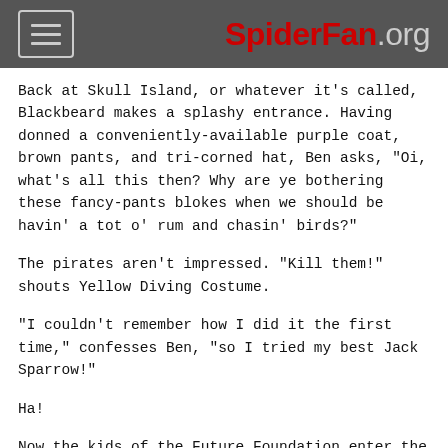SpiderFan.org
Back at Skull Island, or whatever it's called, Blackbeard makes a splashy entrance. Having donned a conveniently-available purple coat, brown pants, and tri-corned hat, Ben asks, "Oi, what's all this then? Why are ye bothering these fancy-pants blokes when we should be havin' a tot o' rum and chasin' birds?"
The pirates aren't impressed. "Kill them!" shouts Yellow Diving Costume.
"I couldn't remember how I did it the first time," confesses Ben, "so I tried my best Jack Sparrow!"
Ha!
Now the kids of the Future Foundation enter the fray. They've come from New York to tell the grown-ups that the three dimensional anomalies weren't naturally related; no